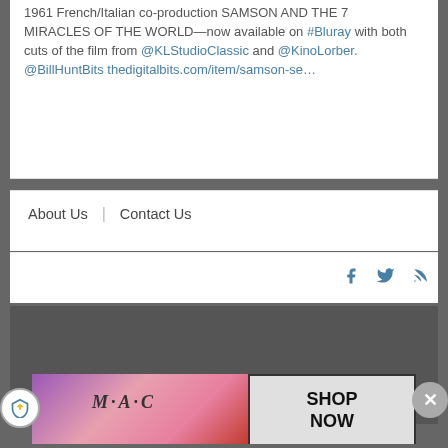1961 French/Italian co-production SAMSON AND THE 7 MIRACLES OF THE WORLD—now available on #Bluray with both cuts of the film from @KLStudioClassic and @KinoLorber. @BillHuntBits thedigitalbits.com/item/samson-se…
About Us | Contact Us
[Figure (other): Social media icons: Facebook, Twitter, RSS feed]
©1997-2022 The Digital Bits, Inc. All rights reserved. Editor in Chief: Bill Hunt
The material on this site may not be reproduced
[Figure (photo): MAC cosmetics advertisement showing lipsticks with text SHOP NOW]